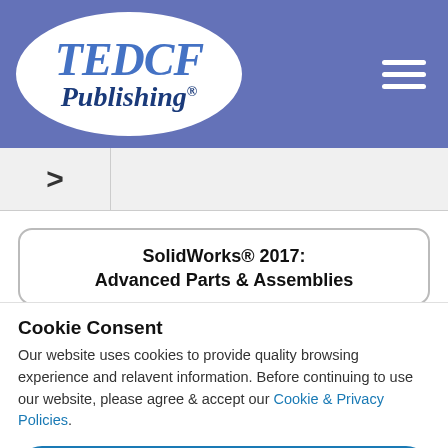[Figure (logo): TEDCF Publishing logo — white oval on blue background with italic bold text 'TEDCF' and 'Publishing' with registered trademark symbol]
>
SolidWorks® 2017: Advanced Parts & Assemblies
Cookie Consent
Our website uses cookies to provide quality browsing experience and relavent information. Before continuing to use our website, please agree & accept our Cookie & Privacy Policies.
Accept
Watch the first hour of the Professional Modeling course for SolidWorks 2017.